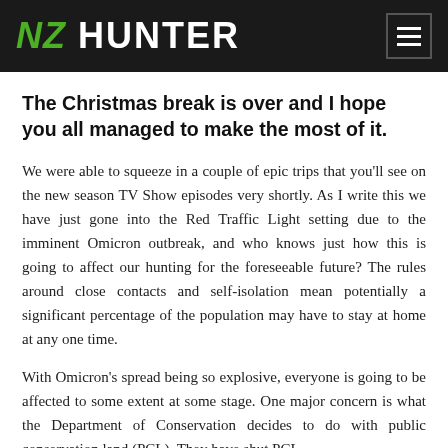NZ HUNTER
The Christmas break is over and I hope you all managed to make the most of it.
We were able to squeeze in a couple of epic trips that you'll see on the new season TV Show episodes very shortly. As I write this we have just gone into the Red Traffic Light setting due to the imminent Omicron outbreak, and who knows just how this is going to affect our hunting for the foreseeable future? The rules around close contacts and self-isolation mean potentially a significant percentage of the population may have to stay at home at any one time.
With Omicron's spread being so explosive, everyone is going to be affected to some extent at some stage. One major concern is what the Department of Conservation decides to do with public conservation land (PCL). They have shut PCL